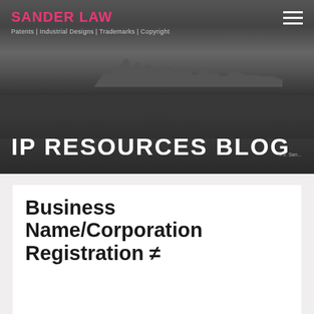[Figure (photo): Black and white aerial photograph of a city skyline across a waterway with trees in the foreground]
SANDER LAW
Patents | Industrial Designs | Trademarks | Copyright
IP RESOURCES BLOG
Business Name/Corporation Registration ≠